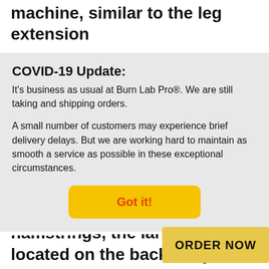Leg curls are performed on a padded machine, similar to the leg extension
COVID-19 Update:
It's business as usual at Burn Lab Pro®. We are still taking and shipping orders.
A small number of customers may experience brief delivery delays. But we are working hard to maintain as smooth a service as possible in these exceptional circumstances.
Got it!
hamstrings, the large muscles located on the backs of your thighs. The hamstrings are used mostly to bend your knee and are used in movements such as running and walking.
Much like... isolates
ORDER NOW